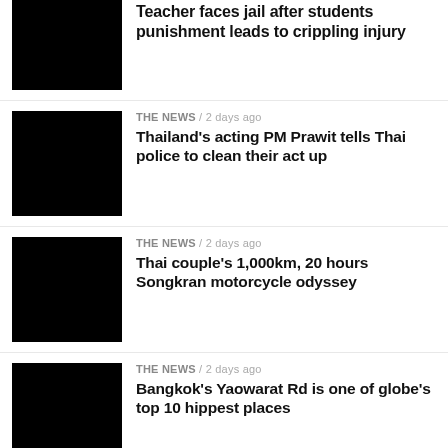[Figure (photo): Black thumbnail image for first article (partially visible at top)]
Teacher faces jail after students punishment leads to crippling injury
[Figure (photo): Black thumbnail image for second article]
THE NEWS / 2 days ago
Thailand's acting PM Prawit tells Thai police to clean their act up
[Figure (photo): Black thumbnail image for third article]
THE NEWS / 2 days ago
Thai couple's 1,000km, 20 hours Songkran motorcycle odyssey
[Figure (photo): Black thumbnail image for fourth article]
THE NEWS / 2 days ago
Bangkok's Yaowarat Rd is one of globe's top 10 hippest places
[Figure (photo): Black thumbnail image for fifth article (partially visible at bottom)]
THE NEWS / 2 days ago